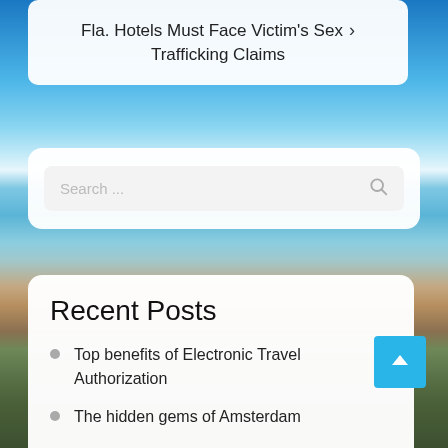Fla. Hotels Must Face Victim's Sex Trafficking Claims ›
Search ...
Recent Posts
Top benefits of Electronic Travel Authorization
The hidden gems of Amsterdam
Azcentral Com Sports